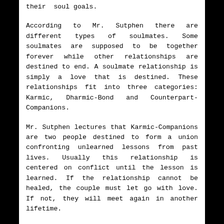their soul goals.
According to Mr. Sutphen there are different types of soulmates. Some soulmates are supposed to be together forever while other relationships are destined to end. A soulmate relationship is simply a love that is destined. These relationships fit into three categories: Karmic, Dharmic-Bond and Counterpart-Companions.
Mr. Sutphen lectures that Karmic-Companions are two people destined to form a union confronting unlearned lessons from past lives. Usually this relationship is centered on conflict until the lesson is learned. If the relationship cannot be healed, the couple must let go with love. If not, they will meet again in another lifetime.
I was living in California when I experienced several karmic relationships. It was also a time that I experienced a great amount of personal growth. My